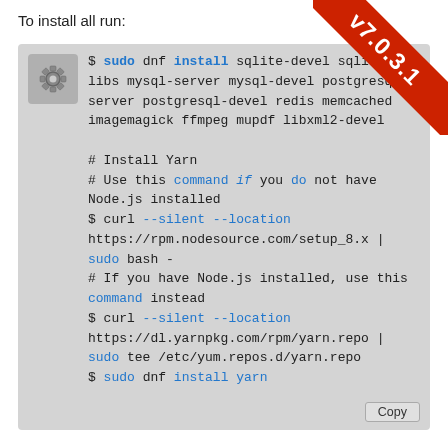To install all run:
[Figure (screenshot): Version badge v7.0.3.1 in red banner on top-right corner]
$ sudo dnf install sqlite-devel sqlite-libs mysql-server mysql-devel postgresql-server postgresql-devel redis memcached imagemagick ffmpeg mupdf libxml2-devel

# Install Yarn
# Use this command if you do not have Node.js installed
$ curl --silent --location https://rpm.nodesource.com/setup_8.x | sudo bash -
# If you have Node.js installed, use this command instead
command instead
$ curl --silent --location https://dl.yarnpkg.com/rpm/yarn.repo | sudo tee /etc/yum.repos.d/yarn.repo
$ sudo dnf install yarn